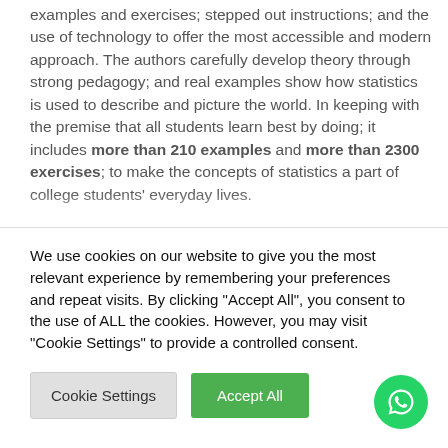examples and exercises; stepped out instructions; and the use of technology to offer the most accessible and modern approach. The authors carefully develop theory through strong pedagogy; and real examples show how statistics is used to describe and picture the world. In keeping with the premise that all students learn best by doing; it includes more than 210 examples and more than 2300 exercises; to make the concepts of statistics a part of college students' everyday lives.
We use cookies on our website to give you the most relevant experience by remembering your preferences and repeat visits. By clicking "Accept All", you consent to the use of ALL the cookies. However, you may visit "Cookie Settings" to provide a controlled consent.